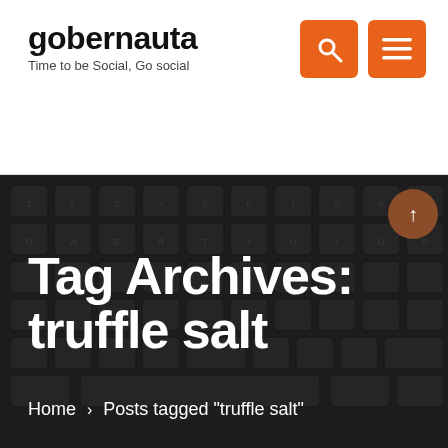gobernauta — Time to be Social, Go social
Tag Archives: truffle salt
Home › Posts tagged "truffle salt"